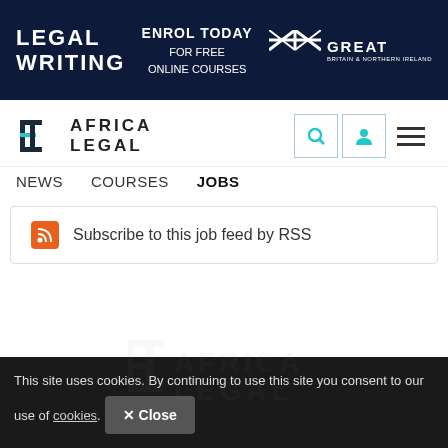[Figure (screenshot): Banner advertisement for Legal Writing online courses by GREAT Britain & Northern Ireland. Dark navy background with 'LEGAL WRITING' in white bold letters, 'ENROL TODAY FOR FREE ONLINE COURSES' in center, and GREAT Britain logo on right.]
[Figure (logo): Africa Legal logo: geometric bracket/E icon in teal and dark, followed by 'AFRICA LEGAL' in dark bold letters]
NEWS   COURSES   JOBS
Subscribe to this job feed by RSS
This site uses cookies. By continuing to use this site you consent to our use of cookies. Close